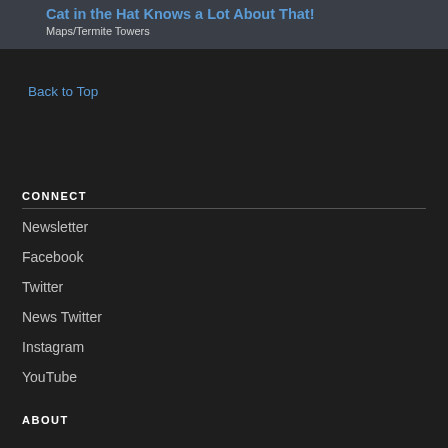Cat in the Hat Knows a Lot About That!
Maps/Termite Towers
Back to Top
CONNECT
Newsletter
Facebook
Twitter
News Twitter
Instagram
YouTube
ABOUT